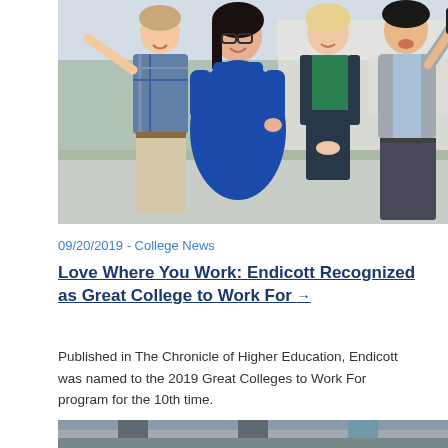[Figure (photo): Four young people (three women and one man) standing outdoors smiling and taking a selfie with a smartphone, in front of a building with greenery. The man on the right is holding up the phone to take the photo.]
09/20/2019 - College News
Love Where You Work: Endicott Recognized as Great College to Work For →
Published in The Chronicle of Higher Education, Endicott was named to the 2019 Great Colleges to Work For program for the 10th time.
[Figure (photo): Partial view of another photo at the bottom of the page, appears to show an outdoor scene.]